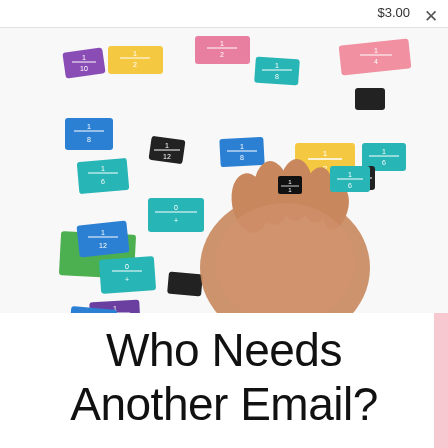$3.00
[Figure (photo): A child's hand holding a small black fraction tile among many colorful fraction tiles scattered on a white background. Tiles are in various colors: blue, purple, teal, green, orange, black, yellow, pink — each showing a fraction like 1/2, 1/3, 1/4, 1/6, 1/8, 1/10, 1/12.]
Who Needs Another Email?